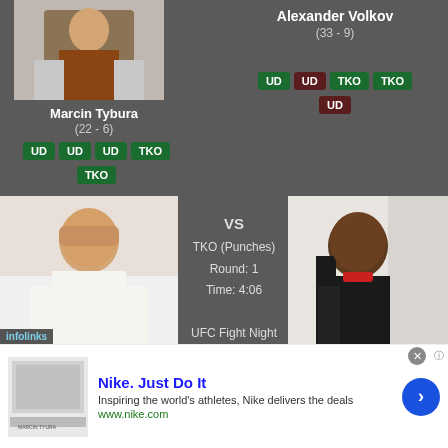Loss
Marcin Tybura (22 - 6)
UD UD UD TKO TKO
Alexander Volkov (33 - 9)
UD UD TKO TKO UD
[Figure (photo): Photo of Marcin Tybura]
VS
TKO (Punches)
Round: 1
Time: 4:06
UFC Fight Night 189 - Rozenstruik vs. Sakai
Jun 05, 2021
[Figure (photo): Photo of Alexander Volkov]
[Figure (screenshot): Nike advertisement - Nike. Just Do It. Inspiring the world's athletes, Nike delivers the deals. www.nike.com]